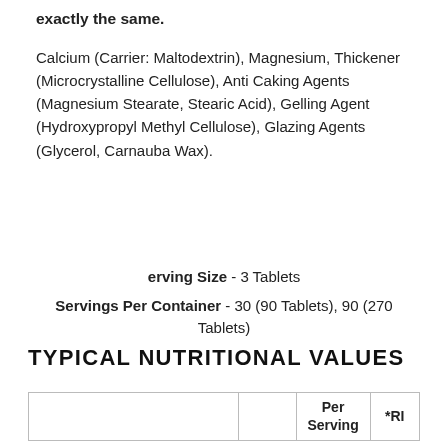exactly the same.
Calcium (Carrier: Maltodextrin), Magnesium, Thickener (Microcrystalline Cellulose), Anti Caking Agents (Magnesium Stearate, Stearic Acid), Gelling Agent (Hydroxypropyl Methyl Cellulose), Glazing Agents (Glycerol, Carnauba Wax).
erving Size - 3 Tablets
Servings Per Container - 30 (90 Tablets), 90 (270 Tablets)
TYPICAL NUTRITIONAL VALUES
|  |  | Per Serving | *RI |
| --- | --- | --- | --- |